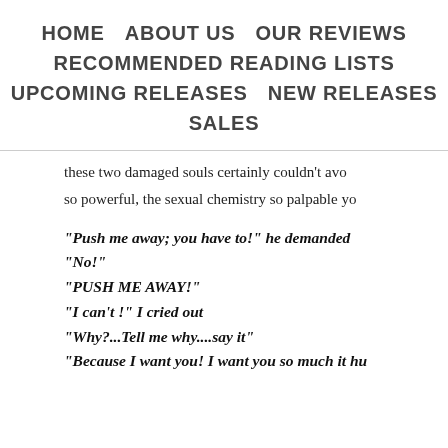HOME   ABOUT US   OUR REVIEWS   RECOMMENDED READING LISTS   UPCOMING RELEASES   NEW RELEASES   SALES
these two damaged souls certainly couldn't avo so powerful, the sexual chemistry so palpable yo
“Push me away; you have to!” he demanded
“No!”
“PUSH ME AWAY!”
“I can’t !” I cried out
“Why?...Tell me why....say it”
“Because I want you! I want you so much it hu